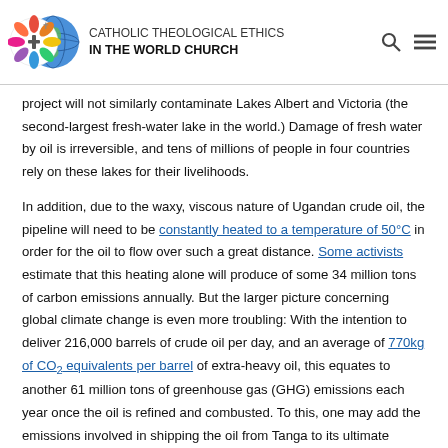CATHOLIC THEOLOGICAL ETHICS IN THE WORLD CHURCH
project will not similarly contaminate Lakes Albert and Victoria (the second-largest fresh-water lake in the world.) Damage of fresh water by oil is irreversible, and tens of millions of people in four countries rely on these lakes for their livelihoods.
In addition, due to the waxy, viscous nature of Ugandan crude oil, the pipeline will need to be constantly heated to a temperature of 50°C in order for the oil to flow over such a great distance. Some activists estimate that this heating alone will produce of some 34 million tons of carbon emissions annually. But the larger picture concerning global climate change is even more troubling: With the intention to deliver 216,000 barrels of crude oil per day, and an average of 770kg of CO₂ equivalents per barrel of extra-heavy oil, this equates to another 61 million tons of greenhouse gas (GHG) emissions each year once the oil is refined and combusted. To this, one may add the emissions involved in shipping the oil from Tanga to its ultimate destination. So the one